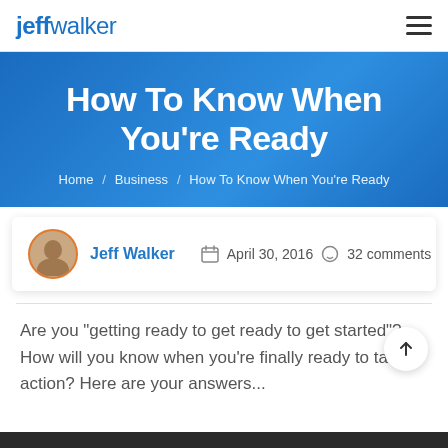jeff walker
How To Know When You're Ready
Home / Business / How To Know When You're Ready
Jeff Walker  April 30, 2016  32 comments
Are you "getting ready to get ready to get started"? How will you know when you're finally ready to take action? Here are your answers...